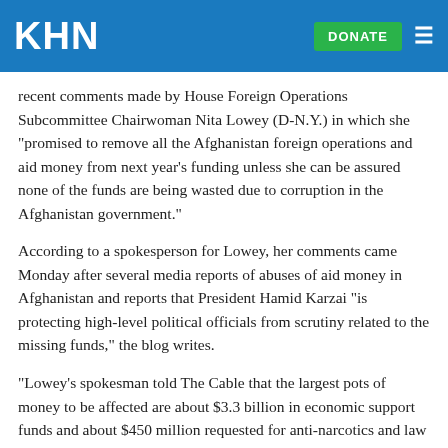KHN
recent comments made by House Foreign Operations Subcommittee Chairwoman Nita Lowey (D-N.Y.) in which she "promised to remove all the Afghanistan foreign operations and aid money from next year's funding unless she can be assured none of the funds are being wasted due to corruption in the Afghanistan government."
According to a spokesperson for Lowey, her comments came Monday after several media reports of abuses of aid money in Afghanistan and reports that President Hamid Karzai "is protecting high-level political officials from scrutiny related to the missing funds," the blog writes.
"Lowey's spokesman told The Cable that the largest pots of money to be affected are about $3.3 billion in economic support funds and about $450 million requested for anti-narcotics and law enforcement aid to Afghanistan. Other accounts to be excluded include global health money, anti-terrorism funds, and military training funds for Afghanistan army officers. Humanitarian aid would not be affected," according to the blog.
It continuing and on" on the blog. I can it will be it a to left it